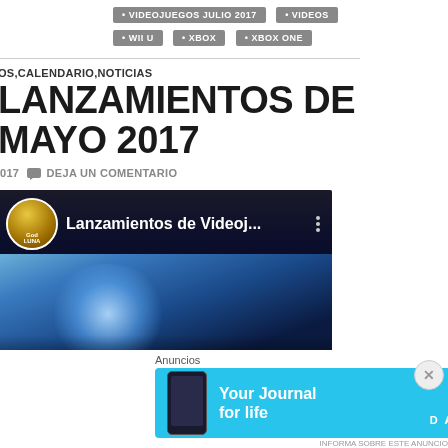VIDEOJUEGOS JULIO 2017 • VIDEOS
WII U • XBOX • XBOX ONE
OS,CALENDARIO,NOTICIAS
LANZAMIENTOS DE MAYO 2017
017   DEJA UN COMENTARIO
[Figure (screenshot): YouTube video thumbnail showing channel avatar (GodLuna) and title 'Lanzamientos de Videoj...' with a brain/sci-fi background image]
Anuncios
[Figure (other): Advertisement banner for DayOne - 'Your Journal for life' app with cyan background, phone image, and book icon logo]